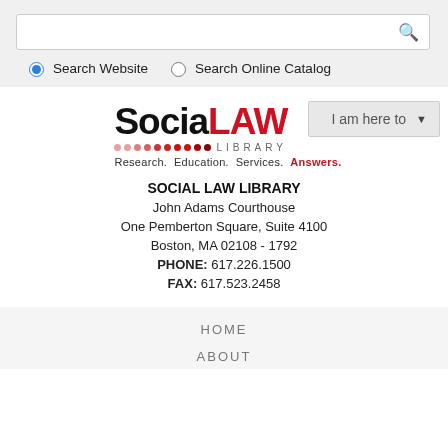[Figure (screenshot): Search bar with magnifying glass icon, radio buttons for 'Search Website' (selected) and 'Search Online Catalog']
[Figure (logo): Social Law Library logo with text 'Social LAW LIBRARY' and tagline 'Research. Education. Services. Answers.']
I am here to
SOCIAL LAW LIBRARY
John Adams Courthouse
One Pemberton Square, Suite 4100
Boston, MA 02108 - 1792
PHONE: 617.226.1500
FAX: 617.523.2458
HOME
ABOUT